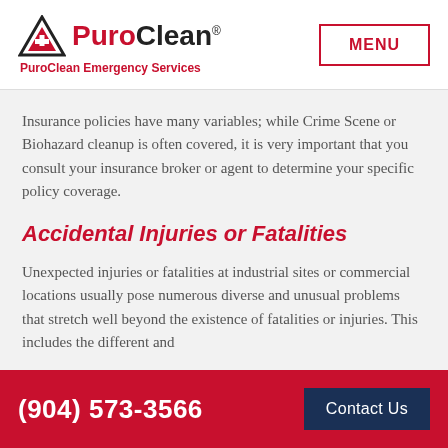PuroClean Emergency Services
Insurance policies have many variables; while Crime Scene or Biohazard cleanup is often covered, it is very important that you consult your insurance broker or agent to determine your specific policy coverage.
Accidental Injuries or Fatalities
Unexpected injuries or fatalities at industrial sites or commercial locations usually pose numerous diverse and unusual problems that stretch well beyond the existence of fatalities or injuries. This includes the different and
(904) 573-3566   Contact Us